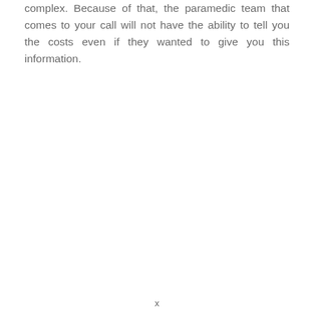complex. Because of that, the paramedic team that comes to your call will not have the ability to tell you the costs even if they wanted to give you this information.
x